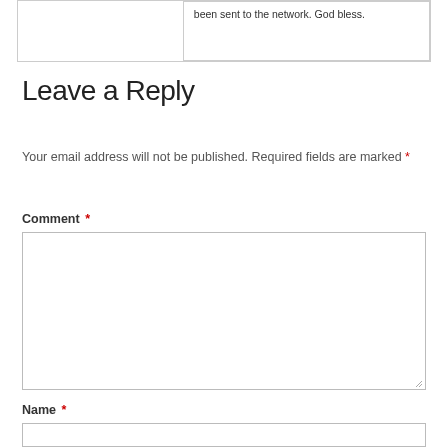been sent to the network. God bless.
Leave a Reply
Your email address will not be published. Required fields are marked *
Comment *
Name *